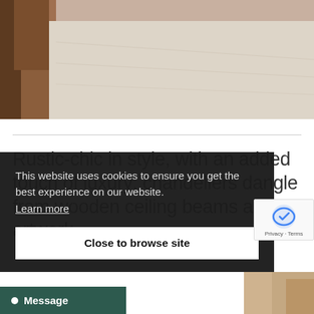[Figure (photo): Top photo showing interior scene with wooden floor and light-colored surface]
Rustic-chic in style, with an added touch of luxury: chandeliers dangle from wooden ceiling beams and artwork
This website uses cookies to ensure you get the best experience on our website. Learn more
Close to browse site
Message
[Figure (photo): Bottom interior photo strip with warm tones]